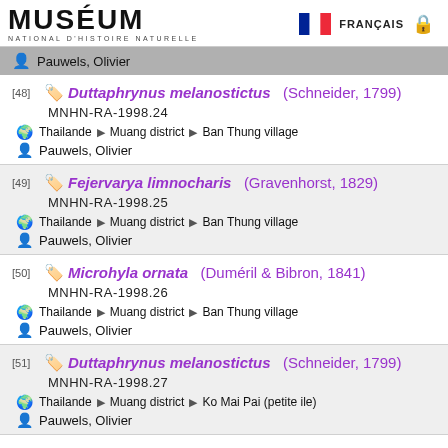MUSÉUM NATIONAL D'HISTOIRE NATURELLE | FRANÇAIS
Pauwels, Olivier
[48] Duttaphrynus melanostictus (Schneider, 1799) | MNHN-RA-1998.24 | Thailande > Muang district > Ban Thung village | Pauwels, Olivier
[49] Fejervarya limnocharis (Gravenhorst, 1829) | MNHN-RA-1998.25 | Thailande > Muang district > Ban Thung village | Pauwels, Olivier
[50] Microhyla ornata (Duméril & Bibron, 1841) | MNHN-RA-1998.26 | Thailande > Muang district > Ban Thung village | Pauwels, Olivier
[51] Duttaphrynus melanostictus (Schneider, 1799) | MNHN-RA-1998.27 | Thailande > Muang district > Ko Mai Pai (petite ile) | Pauwels, Olivier